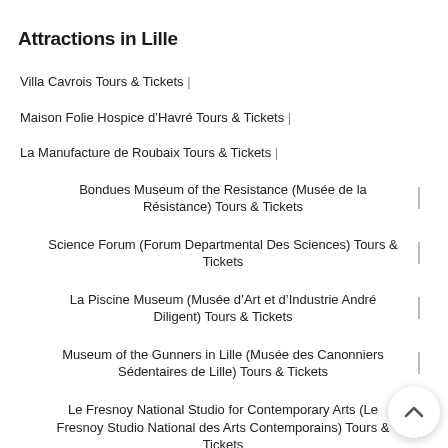Attractions in Lille
Villa Cavrois Tours & Tickets |
Maison Folie Hospice d'Havré Tours & Tickets |
La Manufacture de Roubaix Tours & Tickets |
Bondues Museum of the Resistance (Musée de la Résistance) Tours & Tickets
Science Forum (Forum Departmental Des Sciences) Tours & Tickets
La Piscine Museum (Musée d'Art et d'Industrie André Diligent) Tours & Tickets
Museum of the Gunners in Lille (Musée des Canonniers Sédentaires de Lille) Tours & Tickets
Le Fresnoy National Studio for Contemporary Arts (Le Fresnoy Studio National des Arts Contemporains) Tours & Tickets
Lille Natural History Museum (Musée d'Histoire Naturelle de...) Tours & Tickets
Lille Métropole Museum of Modern, Contemporary and Outsider Art